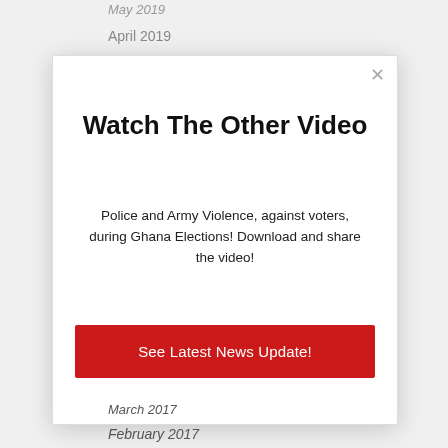May 2019
April 2019
[Figure (screenshot): A modal popup dialog with a close (×) button in the top-right, a bold title 'Watch The Other Video', descriptive text about police and army violence during Ghana Elections, and a red call-to-action button labeled 'See Latest News Update!']
March 2017
February 2017